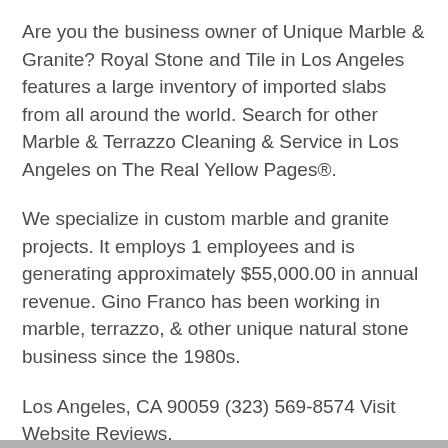Are you the business owner of Unique Marble & Granite? Royal Stone and Tile in Los Angeles features a large inventory of imported slabs from all around the world. Search for other Marble & Terrazzo Cleaning & Service in Los Angeles on The Real Yellow Pages®.
We specialize in custom marble and granite projects. It employs 1 employees and is generating approximately $55,000.00 in annual revenue. Gino Franco has been working in marble, terrazzo, & other unique natural stone business since the 1980s.
Los Angeles, CA 90059 (323) 569-8574 Visit Website Reviews.